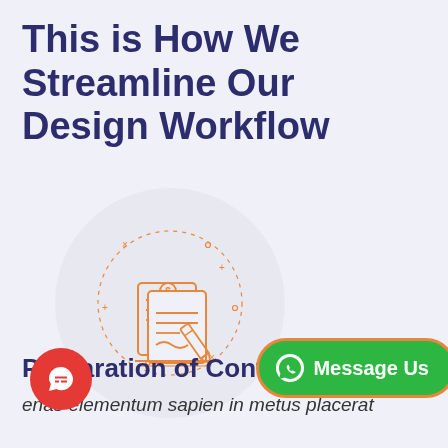This is How We Streamline Our Design Workflow
[Figure (illustration): Orange line-art icon of a contract/document with a pen and dollar sign, inside a light grey circle with dotted decorative ring and small star/cross markers around it]
Preparation of Contr
enas elementum sapien in metus placerat